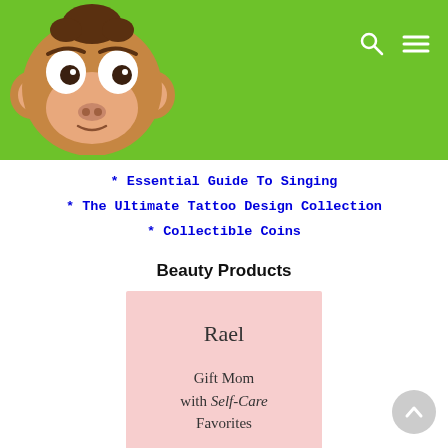[Figure (logo): Cartoon monkey face with big white eyes and brown fur on a green header bar with search and hamburger menu icons]
* Essential Guide To Singing
* The Ultimate Tattoo Design Collection
* Collectible Coins
Beauty Products
[Figure (illustration): Pink card product image for Rael brand showing 'Gift Mom with Self-Care Favorites']